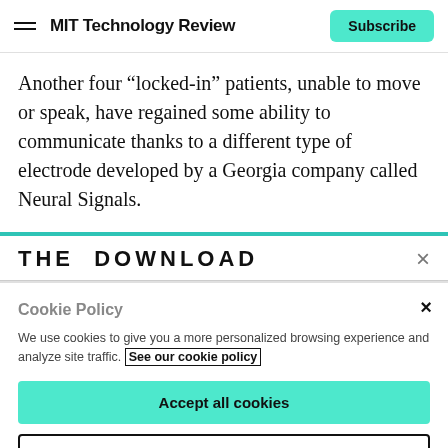MIT Technology Review | Subscribe
Another four “locked-in” patients, unable to move or speak, have regained some ability to communicate thanks to a different type of electrode developed by a Georgia company called Neural Signals.
THE DOWNLOAD
Cookie Policy
We use cookies to give you a more personalized browsing experience and analyze site traffic. See our cookie policy
Accept all cookies
Cookies settings